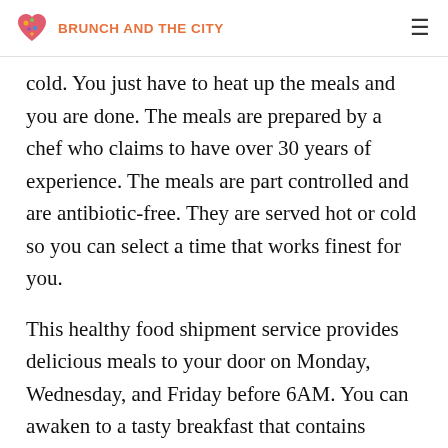BRUNCH AND THE CITY
cold. You just have to heat up the meals and you are done. The meals are prepared by a chef who claims to have over 30 years of experience. The meals are part controlled and are antibiotic-free. They are served hot or cold so you can select a time that works finest for you.
This healthy food shipment service provides delicious meals to your door on Monday, Wednesday, and Friday before 6AM. You can awaken to a tasty breakfast that contains the...